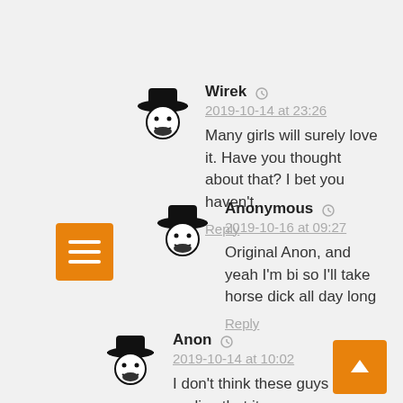[Figure (illustration): Avatar icon of a cowboy/bandit character with black hat for user Wirek]
Wirek
2019-10-14 at 23:26
Many girls will surely love it. Have you thought about that? I bet you haven't.
Reply
[Figure (illustration): Avatar icon of a cowboy/bandit character with black hat for user Anonymous]
Anonymous
2019-10-16 at 09:27
Original Anon, and yeah I'm bi so I'll take horse dick all day long
Reply
[Figure (illustration): Avatar icon of a cowboy/bandit character with black hat for user Anon]
Anon
2019-10-14 at 10:02
I don't think these guys realize that it